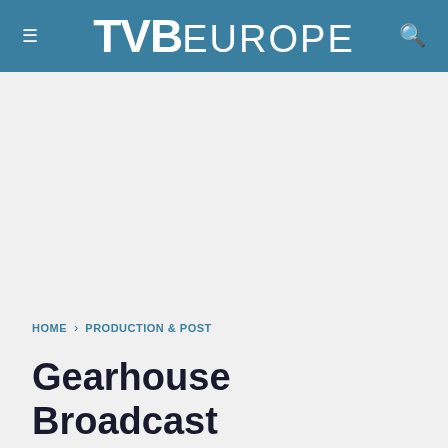TVB EUROPE
[Figure (other): Advertisement placeholder area (blank grey space)]
HOME › PRODUCTION & POST
Gearhouse Broadcast completes two HD OB vans